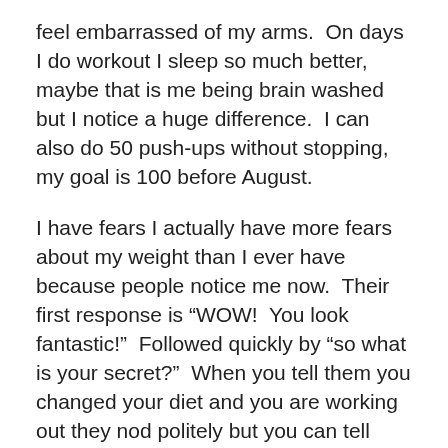feel embarrassed of my arms.  On days I do workout I sleep so much better, maybe that is me being brain washed but I notice a huge difference.  I can also do 50 push-ups without stopping, my goal is 100 before August.

I have fears I actually have more fears about my weight than I ever have because people notice me now.  Their first response is “WOW!  You look fantastic!”  Followed quickly by “so what is your secret?”  When you tell them you changed your diet and you are working out they nod politely but you can tell they are thinking “oh that is so not going to last.”  I am more concerned with my clothes than I ever have been and I still have a closet full of clothes that DO NOT FIT.  I can not bring myself to part with them I feel like I would be jinxing myself if I do.  However it is getting to point were I don’t have clothes that fit, so I need new clothes. I have to empty the closet.  I am terrified of